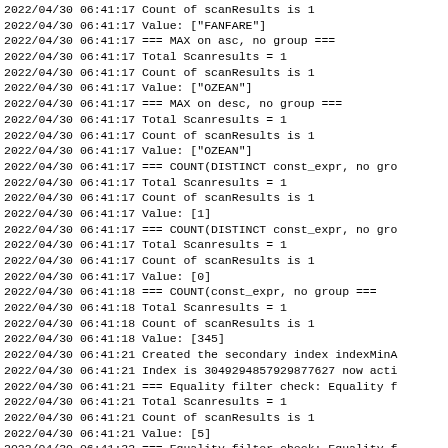2022/04/30 06:41:17 Count of scanResults is 1
2022/04/30 06:41:17 Value: ["FANFARE"]
2022/04/30 06:41:17 === MAX on asc, no group ===
2022/04/30 06:41:17 Total Scanresults = 1
2022/04/30 06:41:17 Count of scanResults is 1
2022/04/30 06:41:17 Value: ["OZEAN"]
2022/04/30 06:41:17 === MAX on desc, no group ===
2022/04/30 06:41:17 Total Scanresults = 1
2022/04/30 06:41:17 Count of scanResults is 1
2022/04/30 06:41:17 Value: ["OZEAN"]
2022/04/30 06:41:17 === COUNT(DISTINCT const_expr, no gro
2022/04/30 06:41:17 Total Scanresults = 1
2022/04/30 06:41:17 Count of scanResults is 1
2022/04/30 06:41:17 Value: [1]
2022/04/30 06:41:17 === COUNT(DISTINCT const_expr, no gro
2022/04/30 06:41:17 Total Scanresults = 1
2022/04/30 06:41:17 Count of scanResults is 1
2022/04/30 06:41:17 Value: [0]
2022/04/30 06:41:18 === COUNT(const_expr, no group ===
2022/04/30 06:41:18 Total Scanresults = 1
2022/04/30 06:41:18 Count of scanResults is 1
2022/04/30 06:41:18 Value: [345]
2022/04/30 06:41:21 Created the secondary index indexMinA
2022/04/30 06:41:21 Index is 3049294857929877627 now acti
2022/04/30 06:41:21 === Equality filter check: Equality f
2022/04/30 06:41:21 Total Scanresults = 1
2022/04/30 06:41:21 Count of scanResults is 1
2022/04/30 06:41:21 Value: [5]
2022/04/30 06:41:22 === Equality filter check: Equality f
2022/04/30 06:41:22 Total Scanresults = 1
2022/04/30 06:41:22 Count of scanResults is 1